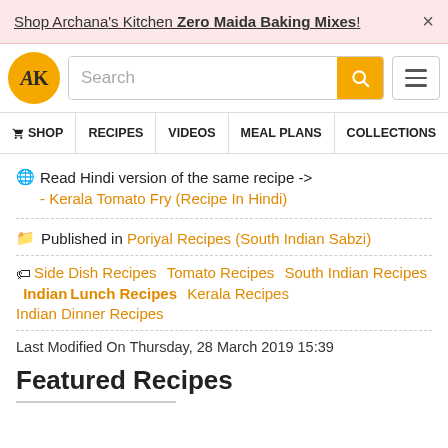Shop Archana's Kitchen Zero Maida Baking Mixes! ×
[Figure (logo): Archana's Kitchen AK logo — orange circle with AK letters]
Search (search bar with search button and hamburger menu)
🛒 SHOP  RECIPES  VIDEOS  MEAL PLANS  COLLECTIONS  AR
🌐 Read Hindi version of the same recipe ->
- Kerala Tomato Fry (Recipe In Hindi)
📁 Published in Poriyal Recipes (South Indian Sabzi)
🏷 Side Dish Recipes  Tomato Recipes  South Indian Recipes  Indian Lunch Recipes  Kerala Recipes  Indian Dinner Recipes
Last Modified On Thursday, 28 March 2019 15:39
Featured Recipes